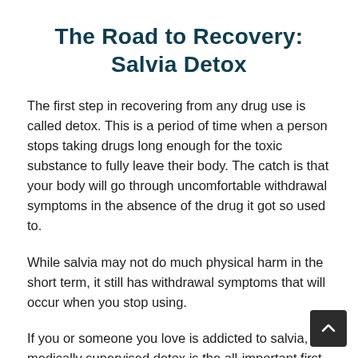The Road to Recovery: Salvia Detox
The first step in recovering from any drug use is called detox. This is a period of time when a person stops taking drugs long enough for the toxic substance to fully leave their body. The catch is that your body will go through uncomfortable withdrawal symptoms in the absence of the drug it got so used to.
While salvia may not do much physical harm in the short term, it still has withdrawal symptoms that will occur when you stop using.
If you or someone you love is addicted to salvia, a medically supervised detox is the all-important first